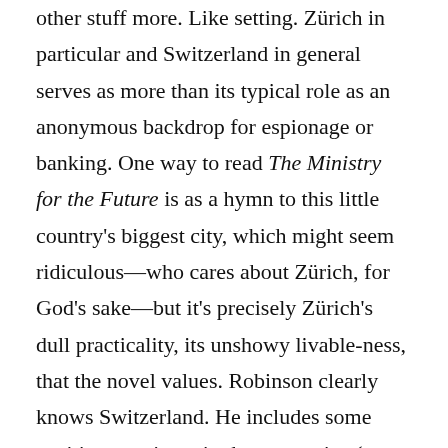other stuff more. Like setting. Zurich in particular and Switzerland in general serves as more than its typical role as an anonymous backdrop for espionage or banking. One way to read The Ministry for the Future is as a hymn to this little country's biggest city, which might seem ridiculous—who cares about Zürich, for God's sake—but it's precisely Zürich's dull practicality, its unshowy livable-ness, that the novel values. Robinson clearly knows Switzerland. He includes some exciting set pieces in the mountains (one of them invoking Frankenstein, natch), as well as lovely evocations of lake swimming and Zürich's Fastnacht (carnival), but what he really loves is the Swiss insistence that when the world is secure,